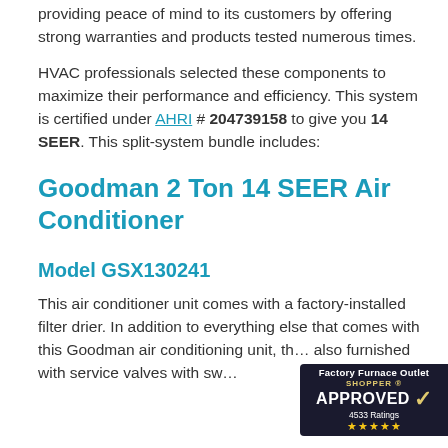providing peace of mind to its customers by offering strong warranties and products tested numerous times.
HVAC professionals selected these components to maximize their performance and efficiency. This system is certified under AHRI # 204739158 to give you 14 SEER. This split-system bundle includes:
Goodman 2 Ton 14 SEER Air Conditioner
Model GSX130241
This air conditioner unit comes with a factory-installed filter drier. In addition to everything else that comes with this Goodman air conditioning unit, th… also furnished with service valves with sw…
[Figure (logo): Factory Furnace Outlet Shopper Approved badge with 4533 Ratings and 5 stars]